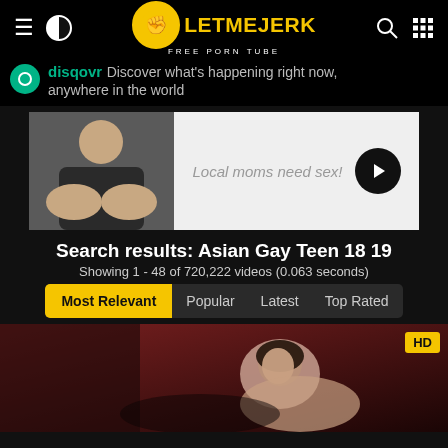LetMeJerk – Free Porn Tube
disqovr – Discover what's happening right now, anywhere in the world
[Figure (photo): Advertisement banner with adult content image on left and 'Local moms need sex!' text with arrow button on right]
Search results: Asian Gay Teen 18 19
Showing 1 - 48 of 720,222 videos (0.063 seconds)
Most Relevant | Popular | Latest | Top Rated
[Figure (photo): HD video thumbnail showing a person, with HD badge in top right corner]